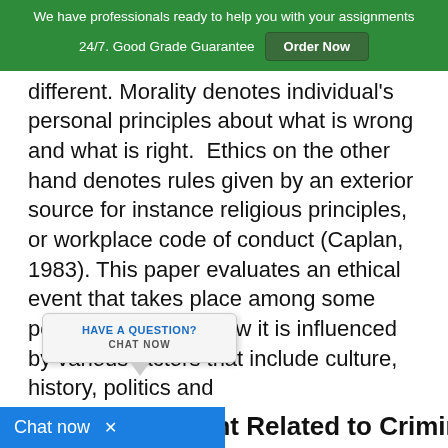We have professionals ready to help you with your assignments 24/7. Good Grade Guarantee  Order Now
different. Morality denotes individual's personal principles about what is wrong and what is right.  Ethics on the other hand denotes rules given by an exterior source for instance religious principles, or workplace code of conduct (Caplan, 1983). This paper evaluates an ethical event that takes place among some police officers and how it is influenced by various factors that include culture, history, politics and e.
[Figure (other): Chat widget popup with 'HAVE A QUESTION? CHAT NOW' text]
[Figure (other): Blue chat now bar at bottom of screen with 'Chat now' and close button]
ent Related to Criminal